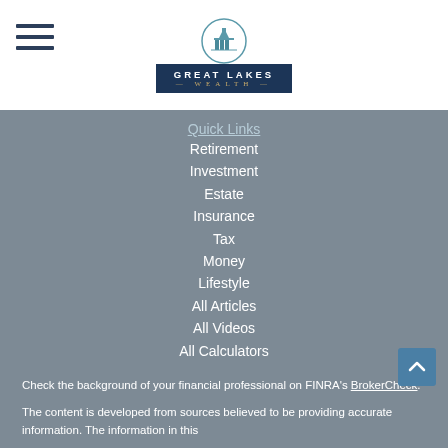[Figure (logo): Great Lakes Wealth logo with hamburger menu icon on left, teal castle icon above dark navy badge reading GREAT LAKES WEALTH]
Quick Links
Retirement
Investment
Estate
Insurance
Tax
Money
Lifestyle
All Articles
All Videos
All Calculators
All Presentations
Check the background of your financial professional on FINRA's BrokerCheck.
The content is developed from sources believed to be providing accurate information. The information in this